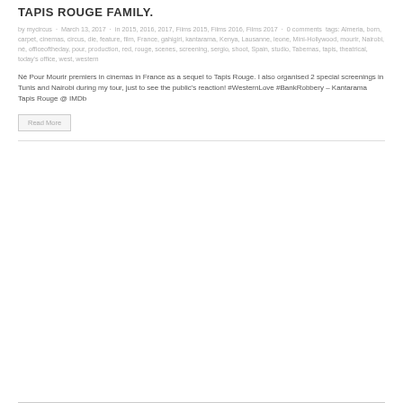TAPIS ROUGE FAMILY.
by mycircus · March 13, 2017 · in 2015, 2016, 2017, Films 2015, Films 2016, Films 2017 · 0 comments tags: Almeria, born, carpet, cinemas, circus, die, feature, film, France, gahigiri, kantarama, Kenya, Lausanne, leone, Mini-Hollywood, mourir, Nairobi, né, officeoftheday, pour, production, red, rouge, scenes, screening, sergio, shoot, Spain, studio, Tabernas, tapis, theatrical, today's office, west, western
Né Pour Mourir premiers in cinemas in France as a sequel to Tapis Rouge. I also organised 2 special screenings in Tunis and Nairobi during my tour, just to see the public's reaction! #WesternLove #BankRobbery – Kantarama Tapis Rouge @ IMDb